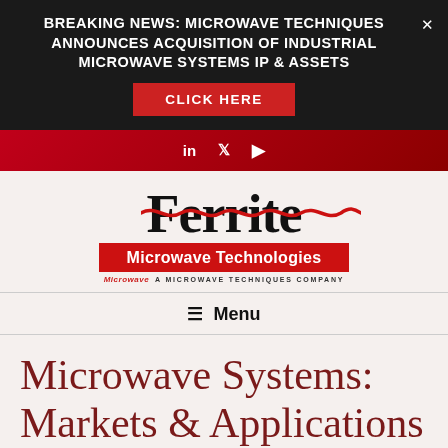BREAKING NEWS: MICROWAVE TECHNIQUES ANNOUNCES ACQUISITION OF INDUSTRIAL MICROWAVE SYSTEMS IP & ASSETS
CLICK HERE
[Figure (logo): Ferrite Microwave Technologies logo with red wave graphic and tagline 'A Microwave Techniques Company']
≡  Menu
Microwave Systems: Markets & Applications